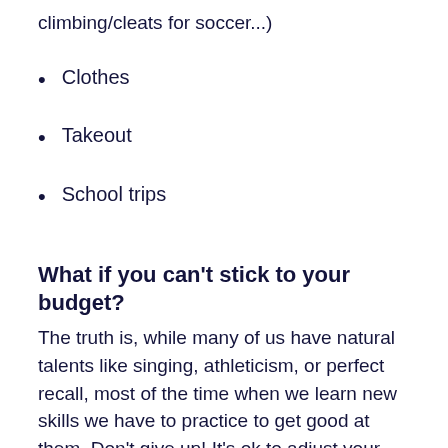climbing/cleats for soccer...)
Clothes
Takeout
School trips
What if you can't stick to your budget?
The truth is, while many of us have natural talents like singing, athleticism, or perfect recall, most of the time when we learn new skills we have to practice to get good at them. Don't give up! It's ok to adjust your budget if it isn't working. Here's a few tips: